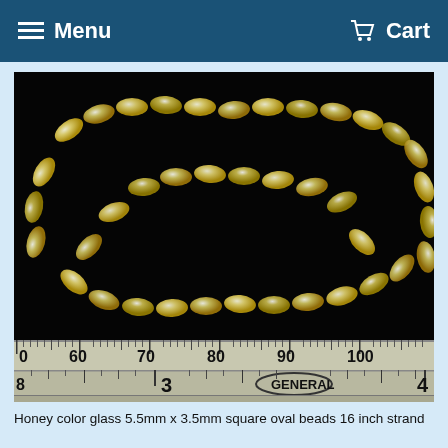≡ Menu  🛒 Cart
[Figure (photo): Close-up photograph of honey-colored glass square oval beads on a 16 inch strand, photographed against a black background with a ruler showing measurements from 0 to 100mm and inches scale showing 3 and 4, with GENERAL brand ruler visible.]
Honey color glass 5.5mm x 3.5mm square oval beads 16 inch strand